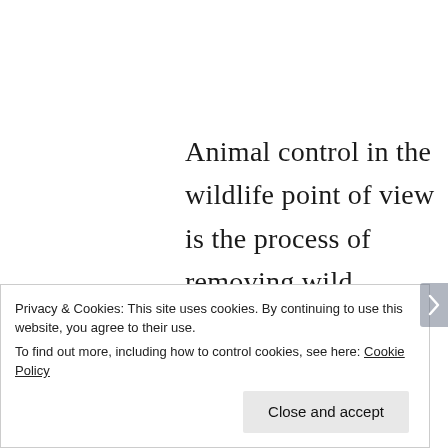Animal control in the wildlife point of view is the process of removing wild animals from your home or office and giving the option of an animal control exclusion or preventative repairs to ensure no future conflicts happen.
Privacy & Cookies: This site uses cookies. By continuing to use this website, you agree to their use.
To find out more, including how to control cookies, see here: Cookie Policy
Close and accept